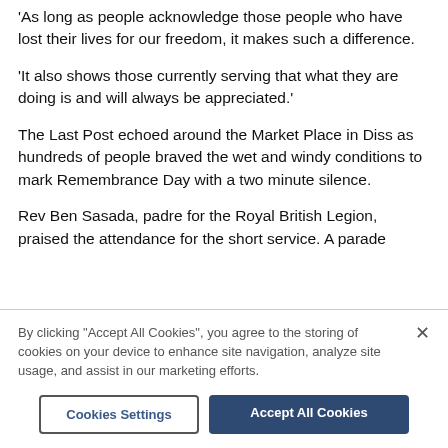'As long as people acknowledge those people who have lost their lives for our freedom, it makes such a difference.
'It also shows those currently serving that what they are doing is and will always be appreciated.'
The Last Post echoed around the Market Place in Diss as hundreds of people braved the wet and windy conditions to mark Remembrance Day with a two minute silence.
Rev Ben Sasada, padre for the Royal British Legion, praised the attendance for the short service. A parade
By clicking "Accept All Cookies", you agree to the storing of cookies on your device to enhance site navigation, analyze site usage, and assist in our marketing efforts.